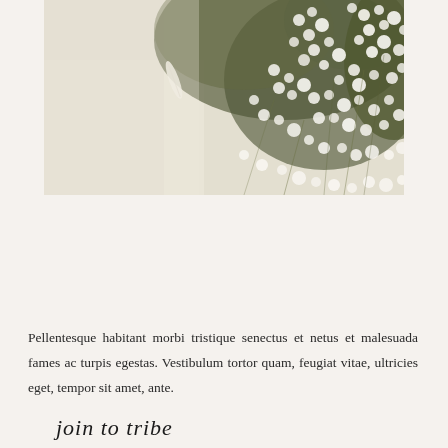[Figure (photo): A close-up photograph of white baby's breath flowers (gypsophila) on a light linen/fabric background, shot in a muted, natural tone aesthetic.]
join to tribe
Does this picture sound familiar?
Pellentesque habitant morbi tristique senectus et netus et malesuada fames ac turpis egestas. Vestibulum tortor quam, feugiat vitae, ultricies eget, tempor sit amet, ante.